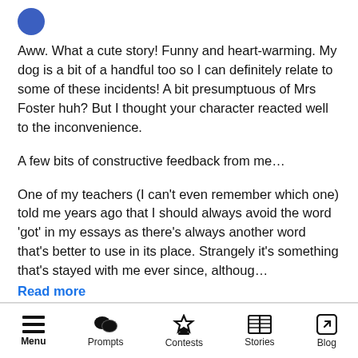Aww. What a cute story! Funny and heart-warming. My dog is a bit of a handful too so I can definitely relate to some of these incidents! A bit presumptuous of Mrs Foster huh? But I thought your character reacted well to the inconvenience.
A few bits of constructive feedback from me…
One of my teachers (I can't even remember which one) told me years ago that I should always avoid the word 'got' in my essays as there's always another word that's better to use in its place. Strangely it's something that's stayed with me ever since, althoug… Read more
Reply
Menu  Prompts  Contests  Stories  Blog